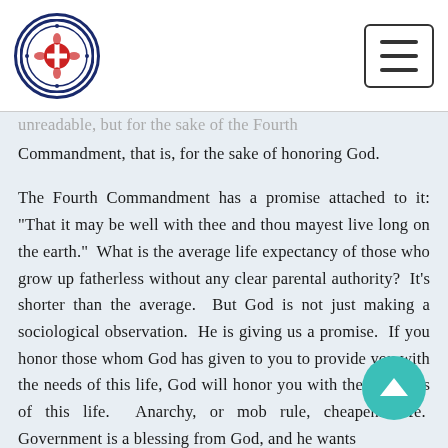[Figure (logo): Lutheran church circular seal/logo with cross and decorative border in navy blue]
unreadable, but for the sake of the Fourth Commandment, that is, for the sake of honoring God.

The Fourth Commandment has a promise attached to it: “That it may be well with thee and thou mayest live long on the earth.” What is the average life expectancy of those who grow up fatherless without any clear parental authority? It’s shorter than the average. But God is not just making a sociological observation. He is giving us a promise. If you honor those whom God has given to you to provide you with the needs of this life, God will honor you with the blessings of this life. Anarchy, or mob rule, cheapens life. Government is a blessing from God, and he wants